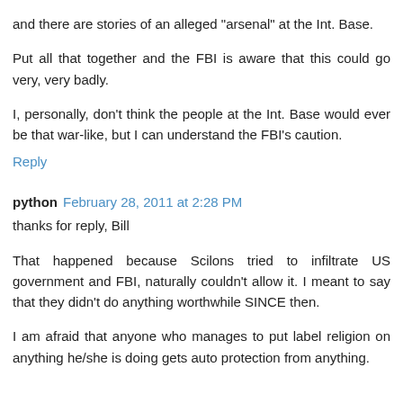and there are stories of an alleged "arsenal" at the Int. Base.
Put all that together and the FBI is aware that this could go very, very badly.
I, personally, don't think the people at the Int. Base would ever be that war-like, but I can understand the FBI's caution.
Reply
python  February 28, 2011 at 2:28 PM
thanks for reply, Bill
That happened because Scilons tried to infiltrate US government and FBI, naturally couldn't allow it. I meant to say that they didn't do anything worthwhile SINCE then.
I am afraid that anyone who manages to put label religion on anything he/she is doing gets auto protection from anything.